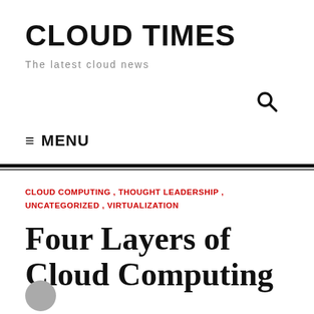CLOUD TIMES
The latest cloud news
≡ MENU
CLOUD COMPUTING , THOUGHT LEADERSHIP , UNCATEGORIZED , VIRTUALIZATION
Four Layers of Cloud Computing